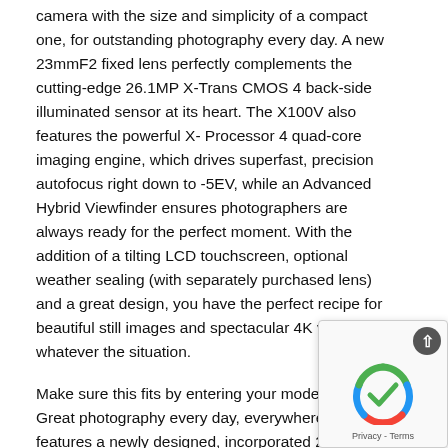camera with the size and simplicity of a compact one, for outstanding photography every day. A new 23mmF2 fixed lens perfectly complements the cutting-edge 26.1MP X-Trans CMOS 4 back-side illuminated sensor at its heart. The X100V also features the powerful X-Processor 4 quad-core imaging engine, which drives superfast, precision autofocus right down to -5EV, while an Advanced Hybrid Viewfinder ensures photographers are always ready for the perfect moment. With the addition of a tilting LCD touchscreen, optional weather sealing (with separately purchased lens) and a great design, you have the perfect recipe for beautiful still images and spectacular 4K video, whatever the situation.
Make sure this fits by entering your model number. Great photography every day, everywhere: X100V features a newly designed, incorporated 23 millimeter F2 lens, ensuring you preserve those special moments at maximum resolution with minimal distortion. It also offers an improved close focusing performance compared to previous X100 models, and, for the first time in the X100 line, y... keep making images even in the toughest conditions when you...